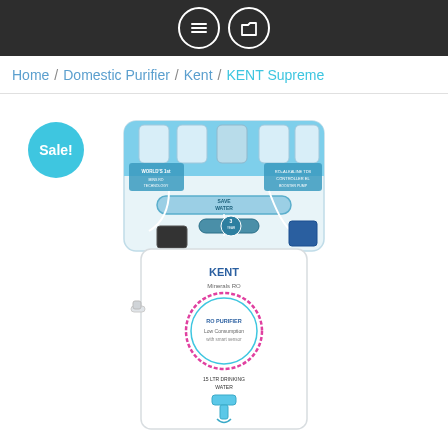Navigation header with list and folder icons
Home / Domestic Purifier / Kent / KENT Supreme
[Figure (photo): KENT Supreme water purifier product photo. A white countertop RO water purifier with blue accents. The top section shows the filtration unit with 'SAVE WATER TECHNOLOGY' label and 'WORLD'S 1st' text. The lower white cabinet section shows the KENT logo and a circular badge. A blue tap is at the bottom. A teal 'Sale!' badge appears in the top-left corner.]